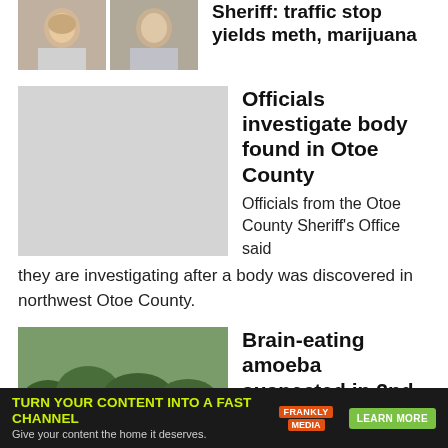[Figure (photo): Two mugshot photos of individuals side by side]
Sheriff: traffic stop yields meth, marijuana
[Figure (photo): Gray placeholder image for body found article]
Officials investigate body found in Otoe County
Officials from the Otoe County Sheriff's Office said they are investigating after a body was discovered in northwest Otoe County.
[Figure (photo): River or lake scene with trees, nature landscape]
Brain-eating amoeba suspected in 2nd Midwest death
A child likely died from a rare infection caused by a brain-eating amoeba after swimming in water
[Figure (other): Advertisement banner: TURN YOUR CONTENT INTO A FAST CHANNEL. Give your content the home it deserves. Frankly Media logo. LEARN MORE button.]